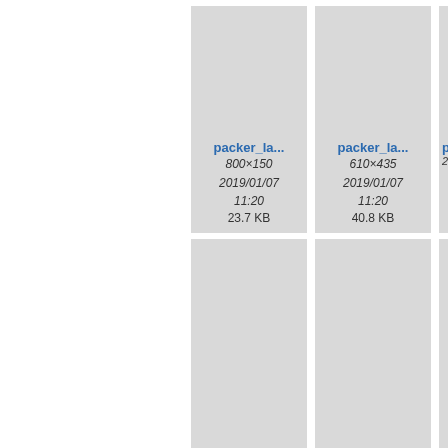[Figure (screenshot): File browser thumbnail grid showing image files named packer_la... with metadata]
packer_la...
800×150
2019/01/07
11:20
23.7 KB
packer_la...
610×435
2019/01/07
11:20
40.8 KB
pa...
2(partial)
packer_la...
915×318
2019/01/07
11:20
63.3 KB
packer_la...
886×51
2019/01/07
11:20
10 KB
pa...
20(partial)